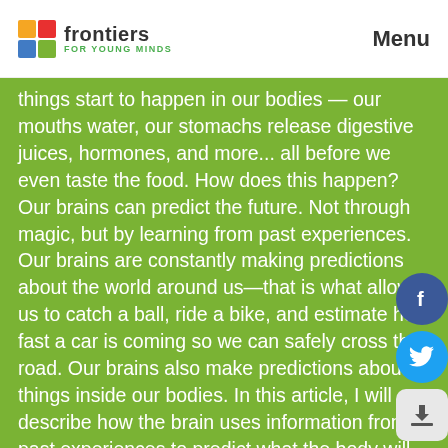frontiers FOR YOUNG MINDS  Menu
things start to happen in our bodies — our mouths water, our stomachs release digestive juices, hormones, and more... all before we even taste the food. How does this happen? Our brains can predict the future. Not through magic, but by learning from past experiences. Our brains are constantly making predictions about the world around us—that is what allows us to catch a ball, ride a bike, and estimate how fast a car is coming so we can safely cross the road. Our brains also make predictions about things inside our bodies. In this article, I will describe how the brain uses information from past experiences to predict what the body will need in the future. These predictions are closely related to the way we experience emotions and feelings...